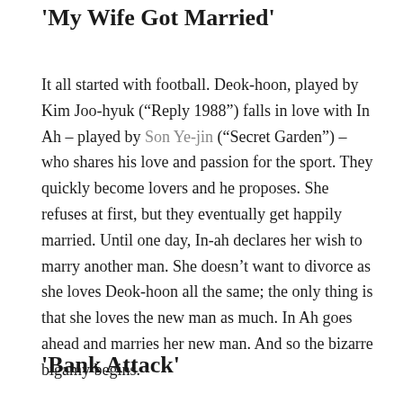‘My Wife Got Married’
It all started with football. Deok-hoon, played by Kim Joo-hyuk (“Reply 1988”) falls in love with In Ah – played by Son Ye-jin (“Secret Garden”) – who shares his love and passion for the sport. They quickly become lovers and he proposes. She refuses at first, but they eventually get happily married. Until one day, In-ah declares her wish to marry another man. She doesn’t want to divorce as she loves Deok-hoon all the same; the only thing is that she loves the new man as much. In Ah goes ahead and marries her new man. And so the bizarre bigamy begins.
‘Bank Attack’